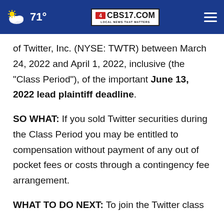71° CBS17.COM LOCAL NEWS THAT MATTERS
of Twitter, Inc. (NYSE: TWTR) between March 24, 2022 and April 1, 2022, inclusive (the "Class Period"), of the important June 13, 2022 lead plaintiff deadline.
SO WHAT: If you sold Twitter securities during the Class Period you may be entitled to compensation without payment of any out of pocket fees or costs through a contingency fee arrangement.
WHAT TO DO NEXT: To join the Twitter class